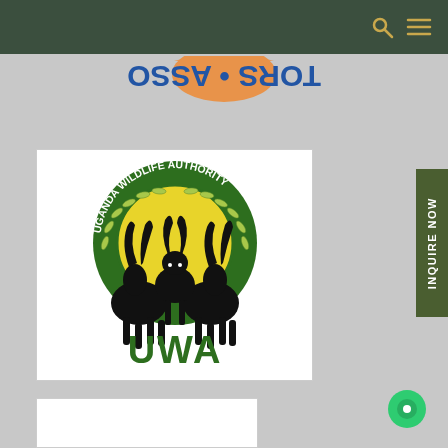Navigation bar with search and menu icons
[Figure (logo): Partial upside-down circular logo with text 'TORS • ASSO' visible in blue on grey background, with orange arc element]
[Figure (logo): Uganda Wildlife Authority (UWA) official logo: circular green emblem with yellow center, two black waterbuck/kob antelopes flanking, wreath border, text 'UGANDA WILDLIFE AUTHORITY' around ring, 'UWA' in large green letters below]
[Figure (other): Partial white box visible at bottom left, likely another logo or image cropped at page edge]
INQUIRE NOW
[Figure (other): Green circular chat/messenger button at bottom right]